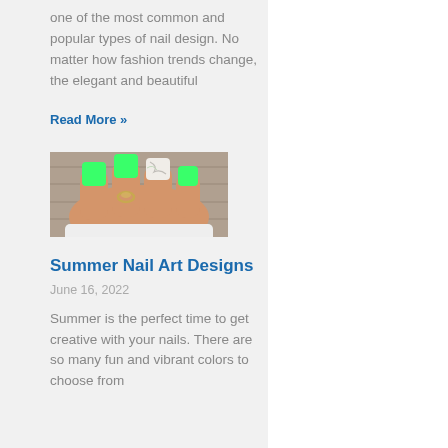one of the most common and popular types of nail design. No matter how fashion trends change, the elegant and beautiful
Read More »
[Figure (photo): A hand with neon green square nails, some with marble/swirl nail art design, wearing a ring, against a wooden background.]
Summer Nail Art Designs
June 16, 2022
Summer is the perfect time to get creative with your nails. There are so many fun and vibrant colors to choose from